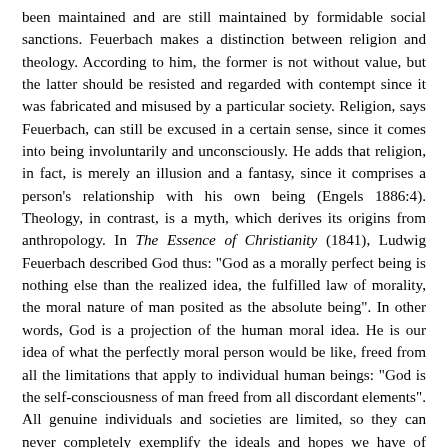been maintained and are still maintained by formidable social sanctions. Feuerbach makes a distinction between religion and theology. According to him, the former is not without value, but the latter should be resisted and regarded with contempt since it was fabricated and misused by a particular society. Religion, says Feuerbach, can still be excused in a certain sense, since it comes into being involuntarily and unconsciously. He adds that religion, in fact, is merely an illusion and a fantasy, since it comprises a person's relationship with his own being (Engels 1886:4). Theology, in contrast, is a myth, which derives its origins from anthropology. In The Essence of Christianity (1841), Ludwig Feuerbach described God thus: "God as a morally perfect being is nothing else than the realized idea, the fulfilled law of morality, the moral nature of man posited as the absolute being". In other words, God is a projection of the human moral idea. He is our idea of what the perfectly moral person would be like, freed from all the limitations that apply to individual human beings: "God is the self-consciousness of man freed from all discordant elements". All genuine individuals and societies are limited, so they can never completely exemplify the ideals and hopes we have of them. (In a way, this reflects Plato's theory that individual things are pale, imperfect copies of an eternal "form" or idea.) But we still have hopes and aspirations for something perfect. Feuerbach argued that God was a projection of those ideals. To believe in him, was to believe in a moral order freed from all conflicts and limitations. He